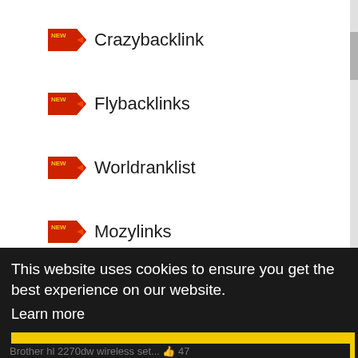Crazybacklink
Flybacklinks
Worldranklist
Mozylinks
Skybacklinks
Backlinksplanet
Updatesee
This website uses cookies to ensure you get the best experience on our website. Learn more
Got it!